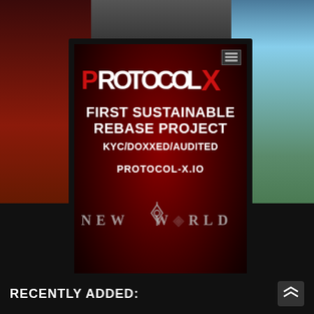[Figure (infographic): Protocol X advertisement card on dark collage background. Dark red radial gradient background with Protocol X logo (white text with red P and X letters), tagline 'FIRST SUSTAINABLE REBASE PROJECT', 'KYC/DOXXED/AUDITED', and URL 'PROTOCOL-X.IO'. Bottom shows 'NEW WORLD' game imagery and 'RECENTLY ADDED:' bar.]
PROTOCOL X
FIRST SUSTAINABLE REBASE PROJECT
KYC/DOXXED/AUDITED
PROTOCOL-X.IO
NEW WORLD
RECENTLY ADDED: